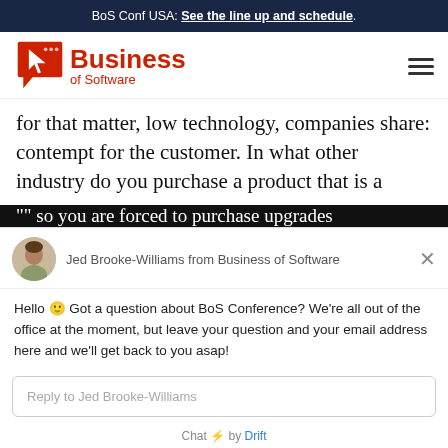BoS Conf USA: See the line up and schedule.
[Figure (logo): Business of Software logo with cursor icon and red speech bubble]
for that matter, low technology, companies share: contempt for the customer. In what other industry do you purchase a product that is a "" so you are forced to purchase upgrades
[Figure (screenshot): Drift chat widget with Jed Brooke-Williams from Business of Software. Message: Hello Got a question about BoS Conference? We're all out of the office at the moment, but leave your question and your email address here and we'll get back to you asap! Reply input field and Chat by Drift footer.]